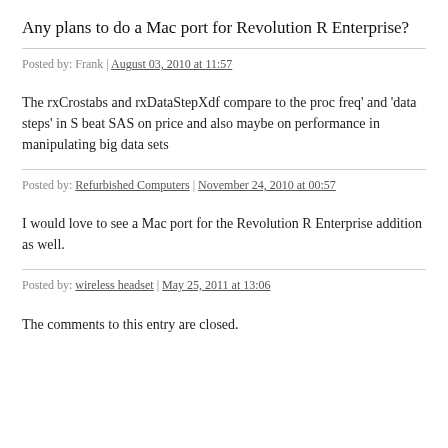Any plans to do a Mac port for Revolution R Enterprise?
Posted by: Frank | August 03, 2010 at 11:57
The rxCrostabs and rxDataStepXdf compare to the proc freq' and 'data steps' in S beat SAS on price and also maybe on performance in manipulating big data sets
Posted by: Refurbished Computers | November 24, 2010 at 00:57
I would love to see a Mac port for the Revolution R Enterprise addition as well.
Posted by: wireless headset | May 25, 2011 at 13:06
The comments to this entry are closed.